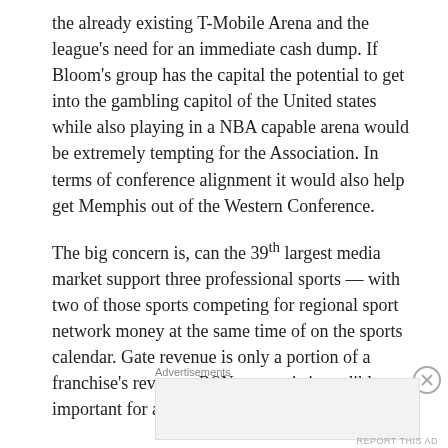the already existing T-Mobile Arena and the league's need for an immediate cash dump. If Bloom's group has the capital the potential to get into the gambling capitol of the United states while also playing in a NBA capable arena would be extremely tempting for the Association. In terms of conference alignment it would also help get Memphis out of the Western Conference.
The big concern is, can the 39th largest media market support three professional sports — with two of those sports competing for regional sport network money at the same time of on the sports calendar. Gate revenue is only a portion of a franchise's revenue, RSN money is incredibly important for a team's
Advertisements